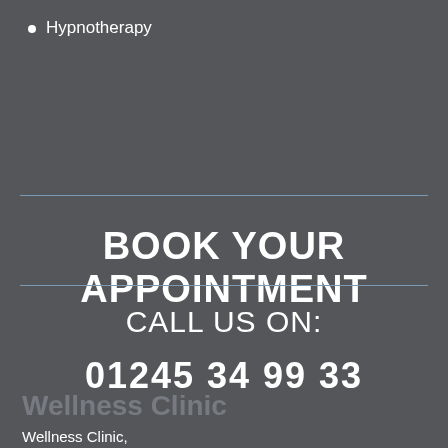Hypnotherapy
BOOK YOUR APPOINTMENT
CALL US ON:
01245 34 99 33
Wellness Clinic
Wellness Clinic,